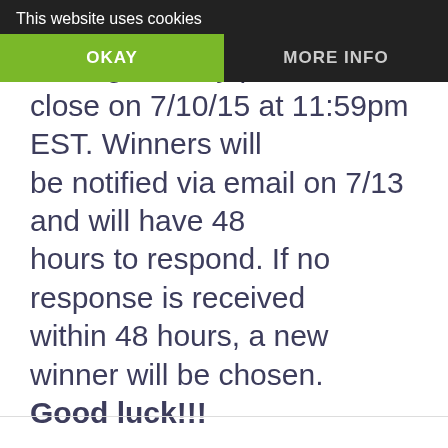[Figure (screenshot): Cookie consent banner overlay with dark background showing 'This website uses cookies' text and two buttons: 'OKAY' in green and 'MORE INFO' in dark grey]
ter forms below to enter. All . The giveaway period will close on 7/10/15 at 11:59pm EST. Winners will be notified via email on 7/13 and will have 48 hours to respond. If no response is received within 48 hours, a new winner will be chosen. Good luck!!!